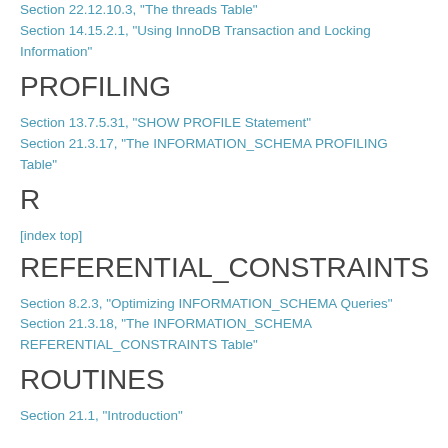Section 22.12.10.3, “The threads Table”
Section 14.15.2.1, “Using InnoDB Transaction and Locking Information”
PROFILING
Section 13.7.5.31, “SHOW PROFILE Statement”
Section 21.3.17, “The INFORMATION_SCHEMA PROFILING Table”
R
[index top]
REFERENTIAL_CONSTRAINTS
Section 8.2.3, “Optimizing INFORMATION_SCHEMA Queries”
Section 21.3.18, “The INFORMATION_SCHEMA REFERENTIAL_CONSTRAINTS Table”
ROUTINES
Section 21.1, “Introduction”